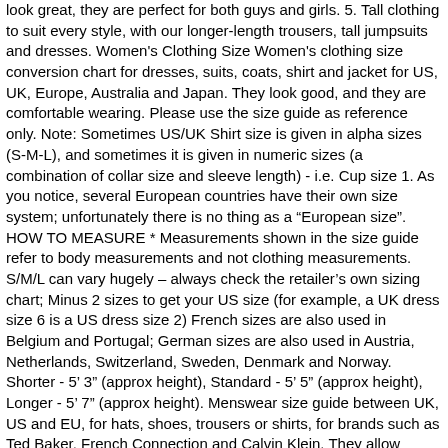look great, they are perfect for both guys and girls. 5. Tall clothing to suit every style, with our longer-length trousers, tall jumpsuits and dresses. Women's Clothing Size Women's clothing size conversion chart for dresses, suits, coats, shirt and jacket for US, UK, Europe, Australia and Japan. They look good, and they are comfortable wearing. Please use the size guide as reference only. Note: Sometimes US/UK Shirt size is given in alpha sizes (S-M-L), and sometimes it is given in numeric sizes (a combination of collar size and sleeve length) - i.e. Cup size 1. As you notice, several European countries have their own size system; unfortunately there is no thing as a "European size". HOW TO MEASURE * Measurements shown in the size guide refer to body measurements and not clothing measurements. S/M/L can vary hugely – always check the retailer's own sizing chart; Minus 2 sizes to get your US size (for example, a UK dress size 6 is a US dress size 2) French sizes are also used in Belgium and Portugal; German sizes are also used in Austria, Netherlands, Switzerland, Sweden, Denmark and Norway. Shorter - 5' 3" (approx height), Standard - 5' 5" (approx height), Longer - 5' 7" (approx height). Menswear size guide between UK, US and EU, for hats, shoes, trousers or shirts, for brands such as Ted Baker, French Connection and Calvin Klein. They allow features like accessing secure areas, e-billing and creating baskets. Sizes for Dresses, Denim, Shirts and Shorts for Men, Women & Kids. Now Up To 80% OFF ... Skirts; Trousers; Outerwear. If you get an odd number, round up or down depending on how you like your bra to fit